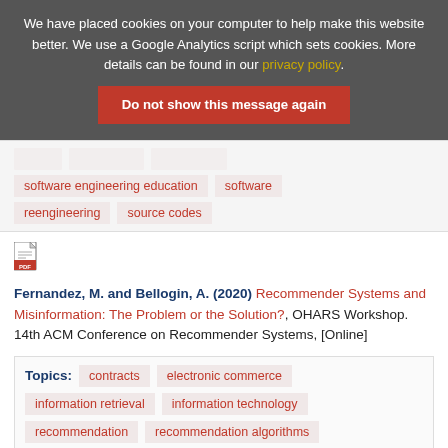We have placed cookies on your computer to help make this website better. We use a Google Analytics script which sets cookies. More details can be found in our privacy policy.
Do not show this message again
software engineering education  software  reengineering  source codes
[Figure (other): PDF file icon]
Fernandez, M. and Bellogin, A. (2020) Recommender Systems and Misinformation: The Problem or the Solution?, OHARS Workshop. 14th ACM Conference on Recommender Systems, [Online]
Topics: contracts  electronic commerce  information retrieval  information technology  recommendation  recommendation algorithms  recommender systems  social sciences  sociology